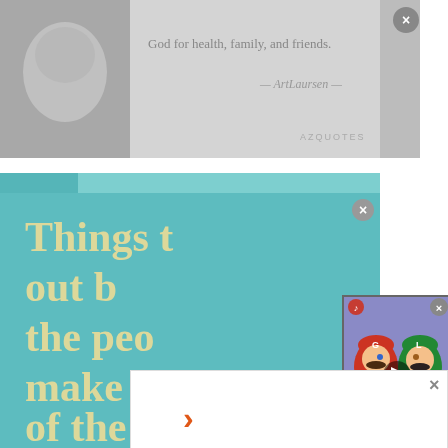[Figure (screenshot): Grayscale quote image with a person's face on the left and text on right reading 'God for health, family, and friends.' with attribution in italic script and AZQuotes branding, with an X close button in top right corner.]
[Figure (screenshot): Teal background quote card with large yellow/tan text reading 'Things turn out b[est for] the peo[ple who] make t[he best] of the way' (partially obscured by overlapping video popup). Top has a lighter teal navigation bar.]
[Figure (screenshot): Video popup showing animated Mario and Luigi cartoon characters facing each other. Has a play button in the center, a close (X) button in the top right, and a mute button in the top left. Background shows a purple/blue sky and green ground.]
[Figure (screenshot): White advertisement panel overlapping the bottom portion of the teal quote card, with an X close button in the top right corner and an orange right-pointing arrow (chevron) in the bottom left.]